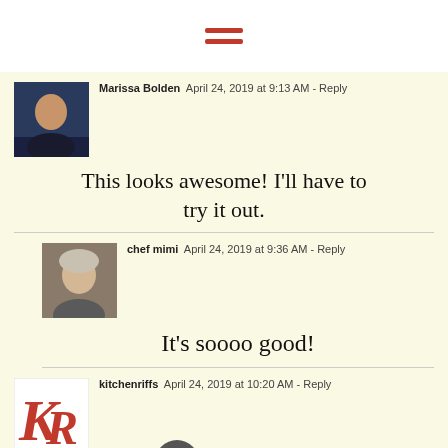[Figure (other): Hamburger menu icon with three horizontal red bars]
Marissa Bolden   April 24, 2019 at 9:13 AM - Reply
This looks awesome! I'll have to try it out.
chef mimi   April 24, 2019 at 9:36 AM - Reply
It's soooo good!
kitchenriffs   April 24, 2019 at 10:20 AM - Reply
I've never had curry ketchup. I know about it, mainly because I've heard of currywurst, and